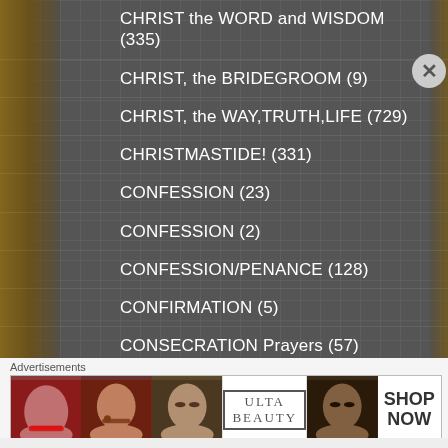CHRIST the WORD and WISDOM (335)
CHRIST, the BRIDEGROOM (9)
CHRIST, the WAY,TRUTH,LIFE (729)
CHRISTMASTIDE! (331)
CONFESSION (23)
CONFESSION (2)
CONFESSION/PENANCE (128)
CONFIRMATION (5)
CONSECRATION Prayers (57)
CONTEMPLATIVE Prayer (25)
CREEDS (5)
Advertisements